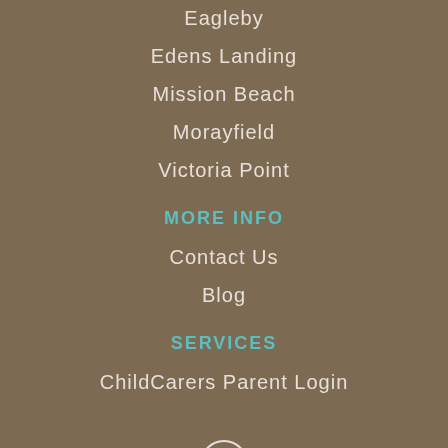Eagleby
Edens Landing
Mission Beach
Morayfield
Victoria Point
MORE INFO
Contact Us
Blog
SERVICES
ChildCarers Parent Login
[Figure (illustration): Circular up arrow icon button in white outline on brown background]